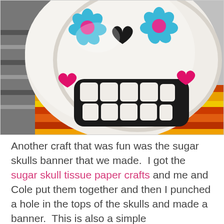[Figure (photo): A white pumpkin decorated as a sugar skull (Día de los Muertos style) with black painted teeth and smile, a black heart-shaped nose, teal/blue flower decorations around the eyes, pink glitter heart cheeks, resting on a colorful striped orange, yellow, and red blanket/rug with a gray and black textile visible in the background.]
Another craft that was fun was the sugar skulls banner that we made.  I got the sugar skull tissue paper crafts and me and Cole put them together and then I punched a hole in the tops of the skulls and made a banner.  This is also a simple